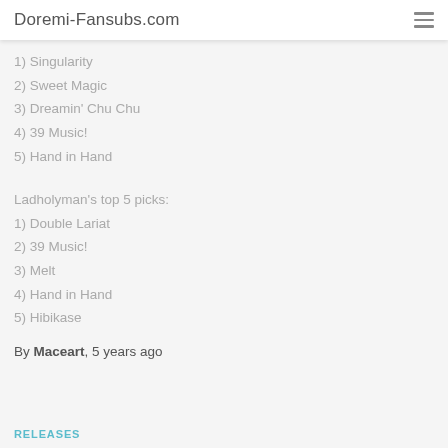Doremi-Fansubs.com
1) Singularity
2) Sweet Magic
3) Dreamin' Chu Chu
4) 39 Music!
5) Hand in Hand
Ladholyman's top 5 picks:
1) Double Lariat
2) 39 Music!
3) Melt
4) Hand in Hand
5) Hibikase
By Maceart, 5 years ago
RELEASES